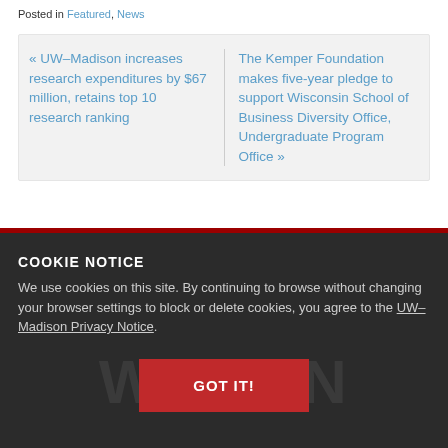Posted in Featured, News
« UW–Madison increases research expenditures by $67 million, retains top 10 research ranking
The Kemper Foundation makes five-year pledge to support Wisconsin School of Business Diversity Office, Undergraduate Program Office »
COOKIE NOTICE
We use cookies on this site. By continuing to browse without changing your browser settings to block or delete cookies, you agree to the UW–Madison Privacy Notice.